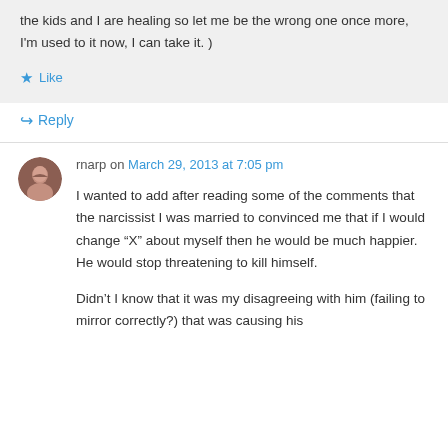the kids and I are healing so let me be the wrong one once more, I'm used to it now, I can take it. )
★ Like
↪ Reply
rnarp on March 29, 2013 at 7:05 pm
I wanted to add after reading some of the comments that the narcissist I was married to convinced me that if I would change "X" about myself then he would be much happier. He would stop threatening to kill himself.
Didn't I know that it was my disagreeing with him (failing to mirror correctly?) that was causing his